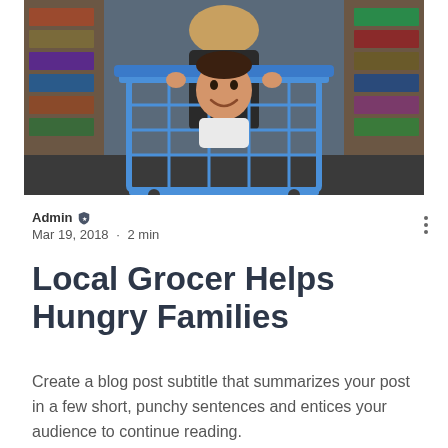[Figure (photo): A smiling young child sitting inside a large blue shopping cart in a grocery store aisle, with an adult behind them pushing the cart. Shelves with products are visible on both sides.]
Admin ✦ Mar 19, 2018 • 2 min
Local Grocer Helps Hungry Families
Create a blog post subtitle that summarizes your post in a few short, punchy sentences and entices your audience to continue reading.